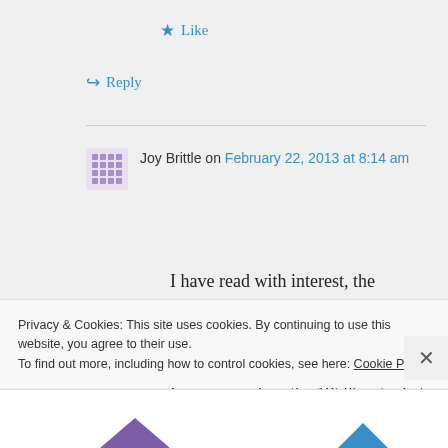★ Like
↪ Reply
Joy Brittle on February 22, 2013 at 8:14 am
I have read with interest, the comments made, about the various tunnels, beneath, Lichfield.
I was a pupil, in the 1950's, at what
Privacy & Cookies: This site uses cookies. By continuing to use this website, you agree to their use.
To find out more, including how to control cookies, see here: Cookie Policy
Close and accept